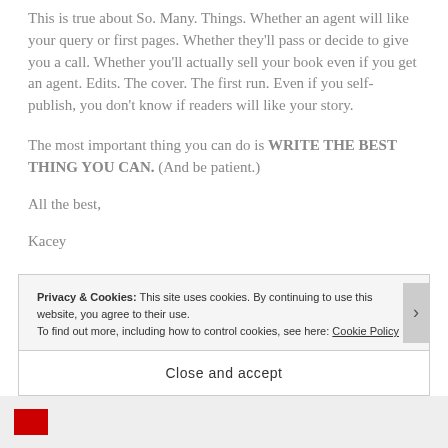This is true about So. Many. Things. Whether an agent will like your query or first pages. Whether they'll pass or decide to give you a call. Whether you'll actually sell your book even if you get an agent. Edits. The cover. The first run. Even if you self-publish, you don't know if readers will like your story.
The most important thing you can do is WRITE THE BEST THING YOU CAN. (And be patient.)
All the best,
Kacey
Privacy & Cookies: This site uses cookies. By continuing to use this website, you agree to their use.
To find out more, including how to control cookies, see here: Cookie Policy
Close and accept